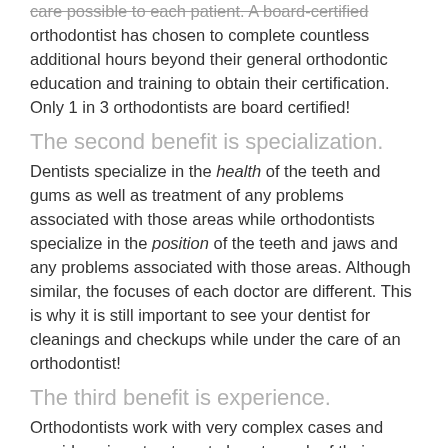care possible to each patient. A board-certified orthodontist has chosen to complete countless additional hours beyond their general orthodontic education and training to obtain their certification. Only 1 in 3 orthodontists are board certified!
The second benefit is specialization.
Dentists specialize in the health of the teeth and gums as well as treatment of any problems associated with those areas while orthodontists specialize in the position of the teeth and jaws and any problems associated with those areas. Although similar, the focuses of each doctor are different. This is why it is still important to see your dentist for cleanings and checkups while under the care of an orthodontist!
The third benefit is experience.
Orthodontists work with very complex cases and provide unique treatment plans to each of their patients. They must take yearly training to make sure they are up to date on the latest technology and treatment concepts. You can trust in